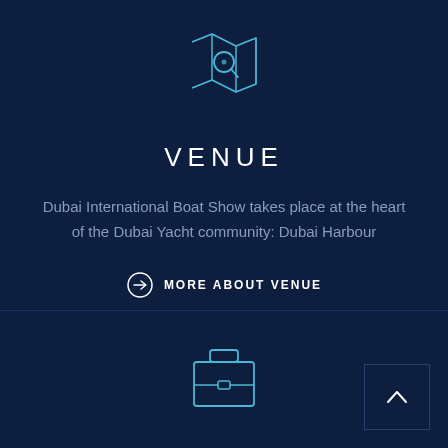[Figure (illustration): Map with magnifying glass icon, cyan outline style]
VENUE
Dubai International Boat Show takes place at the heart of the Dubai Yacht community: Dubai Harbour
MORE ABOUT VENUE
[Figure (illustration): Briefcase/suitcase icon, cyan outline style]
[Figure (illustration): Back to top arrow button in square border]